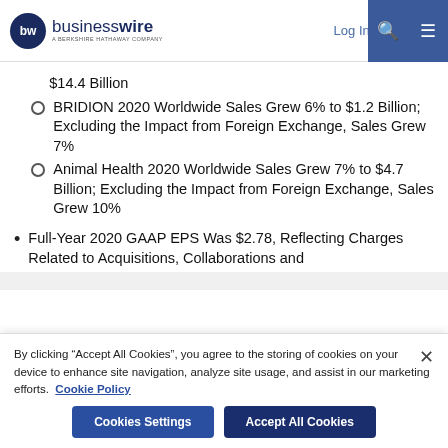businesswire — A Berkshire Hathaway Company | Log In | Sign Up
$14.4 Billion
BRIDION 2020 Worldwide Sales Grew 6% to $1.2 Billion; Excluding the Impact from Foreign Exchange, Sales Grew 7%
Animal Health 2020 Worldwide Sales Grew 7% to $4.7 Billion; Excluding the Impact from Foreign Exchange, Sales Grew 10%
Full-Year 2020 GAAP EPS Was $2.78, Reflecting Charges Related to Acquisitions, Collaborations and
By clicking “Accept All Cookies”, you agree to the storing of cookies on your device to enhance site navigation, analyze site usage, and assist in our marketing efforts. Cookie Policy
Cookies Settings | Accept All Cookies